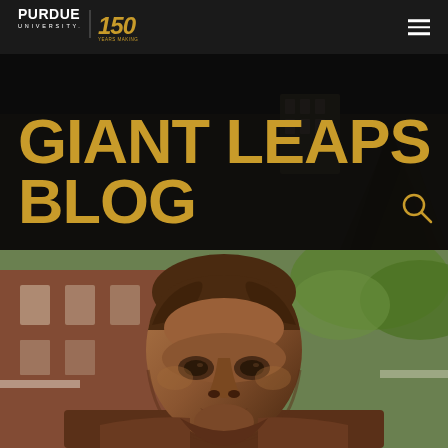[Figure (logo): Purdue University logo with '150' anniversary badge in gold]
GIANT LEAPS BLOG
[Figure (photo): Close-up photograph of a bronze statue of a man's face and upper body, with a brick building and trees visible in the blurred background]